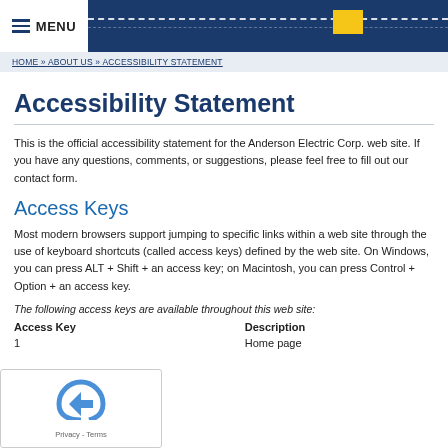MENU
HOME » ABOUT US » ACCESSIBILITY STATEMENT
Accessibility Statement
This is the official accessibility statement for the Anderson Electric Corp. web site. If you have any questions, comments, or suggestions, please feel free to fill out our contact form.
Access Keys
Most modern browsers support jumping to specific links within a web site through the use of keyboard shortcuts (called access keys) defined by the web site. On Windows, you can press ALT + Shift + an access key; on Macintosh, you can press Control + Option + an access key.
The following access keys are available throughout this web site:
| Access Key | Description |
| --- | --- |
| 1 | Home page |